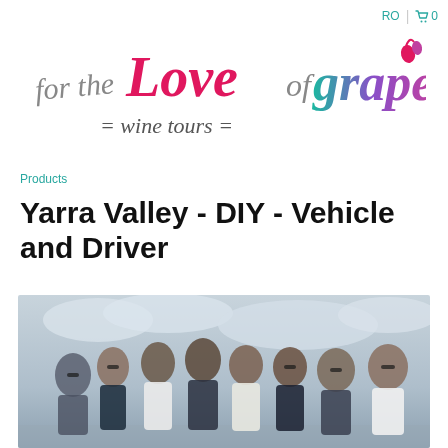RO | 🛒 0
[Figure (logo): For the Love of grape wine tours logo — stylized script text in pink, teal and purple gradient colors]
Products
Yarra Valley - DIY - Vehicle and Driver
[Figure (photo): Group photo of approximately 8 young adults standing together outdoors under an overcast sky]